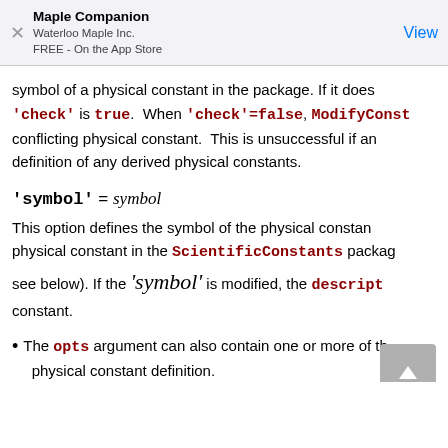Maple Companion
Waterloo Maple Inc.
FREE - On the App Store
symbol of a physical constant in the package. If it does 'check' is true. When 'check'=false, ModifyConst conflicting physical constant. This is unsuccessful if an definition of any derived physical constants.
This option defines the symbol of the physical constant physical constant in the ScientificConstants package (see below). If the 'symbol' is modified, the descript constant.
The opts argument can also contain one or more of the physical constant definition.